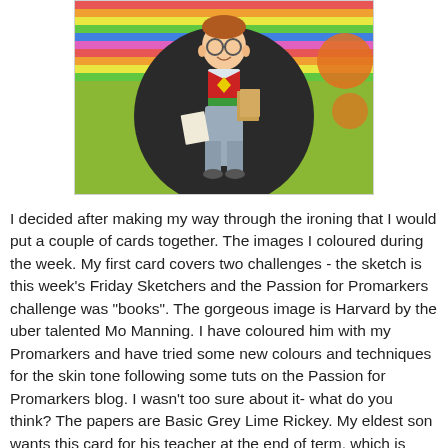[Figure (illustration): A cartoon illustration of a nerdy boy character named Harvard by Mo Manning, holding books, wearing round glasses, a red and green argyle vest, grey cargo pants, positioned on a large dark circular background over a striped and patterned colourful background.]
I decided after making my way through the ironing that I would put a couple of cards together. The images I coloured during the week. My first card covers two challenges - the sketch is this week's Friday Sketchers and the Passion for Promarkers challenge was "books". The gorgeous image is Harvard by the uber talented Mo Manning. I have coloured him with my Promarkers and have tried some new colours and techniques for the skin tone following some tuts on the Passion for Promarkers blog. I wasn't too sure about it- what do you think? The papers are Basic Grey Lime Rickey. My eldest son wants this card for his teacher at the end of term, which is only a few weeks away in Scotland.